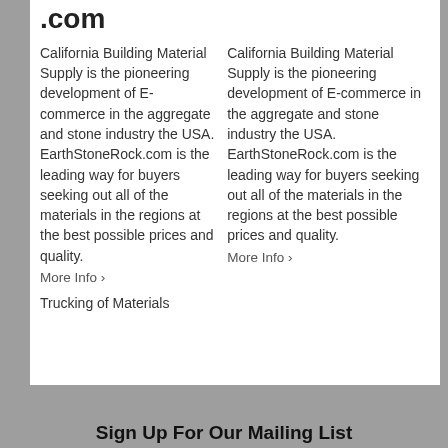.com
California Building Material Supply is the pioneering development of E-commerce in the aggregate and stone industry the USA. EarthStoneRock.com is the leading way for buyers seeking out all of the materials in the regions at the best possible prices and quality.
More Info ›
California Building Material Supply is the pioneering development of E-commerce in the aggregate and stone industry the USA. EarthStoneRock.com is the leading way for buyers seeking out all of the materials in the regions at the best possible prices and quality.
More Info ›
Trucking of Materials
Sign Up For Our Mailing List